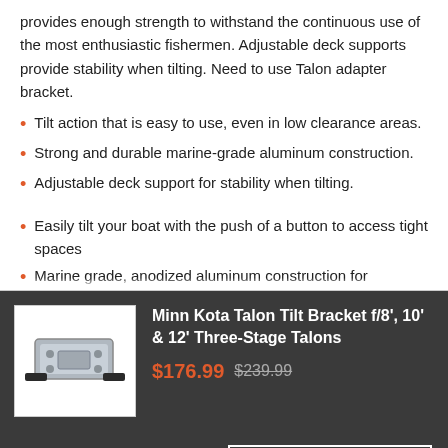provides enough strength to withstand the continuous use of the most enthusiastic fishermen. Adjustable deck supports provide stability when tilting. Need to use Talon adapter bracket.
Tilt action that is easy to use, even in low clearance areas.
Strong and durable marine-grade aluminum construction.
Adjustable deck support for stability when tilting.
Easily tilt your boat with the push of a button to access tight spaces
Marine grade, anodized aluminum construction for
[Figure (photo): Minn Kota Talon Tilt Bracket product image showing a silver/grey aluminum bracket accessory with black mounting arms]
Minn Kota Talon Tilt Bracket f/8', 10' & 12' Three-Stage Talons $176.99 $239.99
ADD TO CART